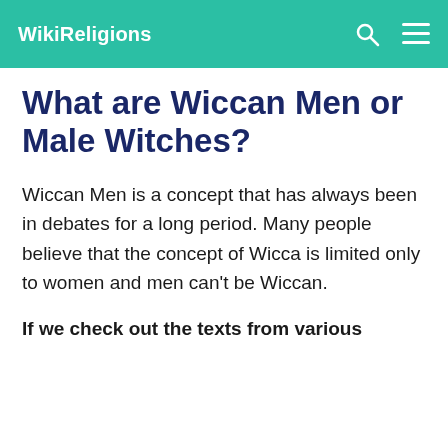WikiReligions
What are Wiccan Men or Male Witches?
Wiccan Men is a concept that has always been in debates for a long period. Many people believe that the concept of Wicca is limited only to women and men can't be Wiccan.
If we check out the texts from various